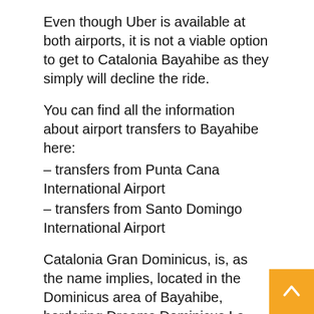Even though Uber is available at both airports, it is not a viable option to get to Catalonia Bayahibe as they simply will decline the ride.
You can find all the information about airport transfers to Bayahibe here:
– transfers from Punta Cana International Airport
– transfers from Santo Domingo International Airport
Catalonia Gran Dominicus, is, as the name implies, located in the Dominicus area of Bayahibe, bordering Dreams Dominicus La Romana on the one side and Iberostar Hacienda Dominicus on the other side. If leaving the resort along the beach, you can reach the center of Dominicus with its couple of shops, bars and restaurants after a few minutes walking.